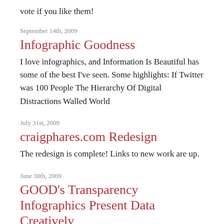vote if you like them!
September 14th, 2009
Infographic Goodness
I love infographics, and Information Is Beautiful has some of the best I've seen. Some highlights: If Twitter was 100 People The Hierarchy Of Digital Distractions Walled World
July 31st, 2009
craigphares.com Redesign
The redesign is complete! Links to new work are up.
June 30th, 2009
GOOD's Transparency Infographics Present Data Creatively
GOOD is a collaboration of individuals, businesses,